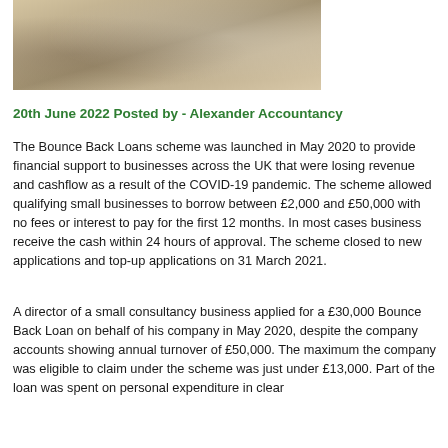[Figure (photo): Photo of a person working at a desk with a laptop, papers, and a calculator]
20th June 2022 Posted by - Alexander Accountancy
The Bounce Back Loans scheme was launched in May 2020 to provide financial support to businesses across the UK that were losing revenue and cashflow as a result of the COVID-19 pandemic. The scheme allowed qualifying small businesses to borrow between £2,000 and £50,000 with no fees or interest to pay for the first 12 months. In most cases business receive the cash within 24 hours of approval. The scheme closed to new applications and top-up applications on 31 March 2021.
A director of a small consultancy business applied for a £30,000 Bounce Back Loan on behalf of his company in May 2020, despite the company accounts showing annual turnover of £50,000. The maximum the company was eligible to claim under the scheme was just under £13,000. Part of the loan was spent on personal expenditure in clear